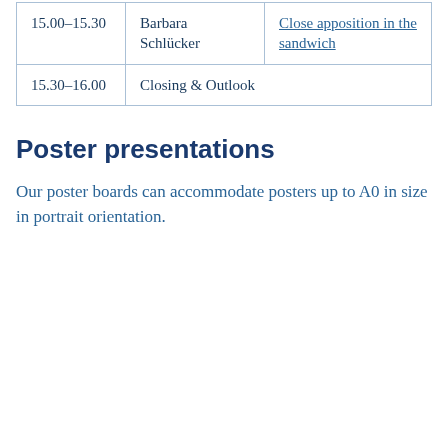| Time | Speaker | Title |
| --- | --- | --- |
| 15.00–15.30 | Barbara Schlücker | Close apposition in the sandwich |
| 15.30–16.00 | Closing & Outlook |  |
Poster presentations
Our poster boards can accommodate posters up to A0 in size in portrait orientation.